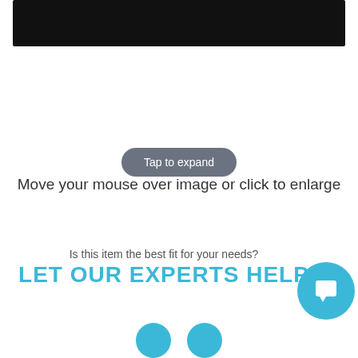[Figure (photo): Product photo showing a dark/black flat object (likely a tablet or device) against a white background, only the bottom portion visible]
Tap to expand
Move your mouse over image or click to enlarge
Is this item the best fit for your needs?
LET OUR EXPERTS HELP